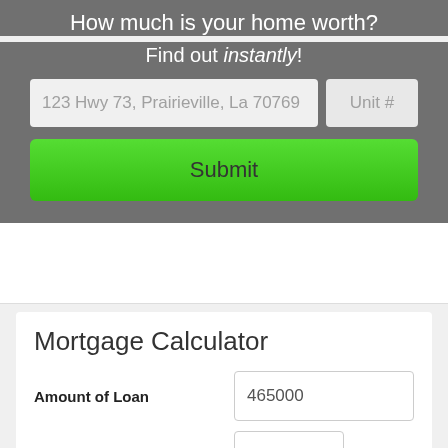How much is your home worth?
Find out instantly!
123 Hwy 73, Prairieville, La 70769
Unit #
Submit
Mortgage Calculator
Amount of Loan
465000
Annual Interest Rate
5
%